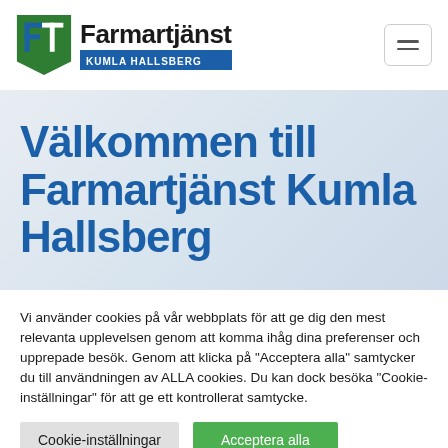[Figure (logo): Farmartjänst Kumla Hallsberg logo with green and blue F-T icon and text]
Välkommen till Farmartjänst Kumla Hallsberg
Vi använder cookies på vår webbplats för att ge dig den mest relevanta upplevelsen genom att komma ihåg dina preferenser och upprepade besök. Genom att klicka på "Acceptera alla" samtycker du till användningen av ALLA cookies. Du kan dock besöka "Cookie-inställningar" för att ge ett kontrollerat samtycke.
Cookie-inställningar
Acceptera alla